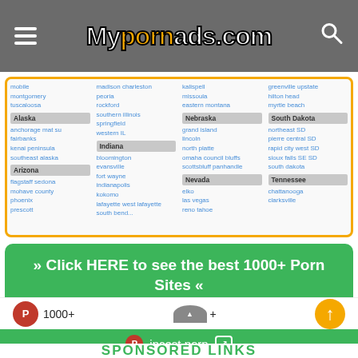Mypornads.com
[Figure (screenshot): Directory listing of US cities organized by state including Alaska, Arizona, Indiana, Nebraska, Nevada, South Carolina, South Dakota, Tennessee]
» Click HERE to see the best 1000+ Porn Sites «
[Figure (screenshot): Bottom navigation bar with incest porn link, 1000+ button, + button, and up arrow button]
SPONSORED LINKS